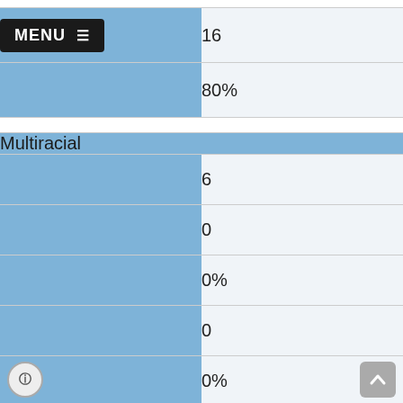| Category | Value |
| --- | --- |
|  | 16 |
|  | 80% |
| Multiracial |  |
|  | 6 |
|  | 0 |
|  | 0% |
|  | 0 |
|  | 0% |
|  | 3 |
|  | 50% |
|  | 3 |